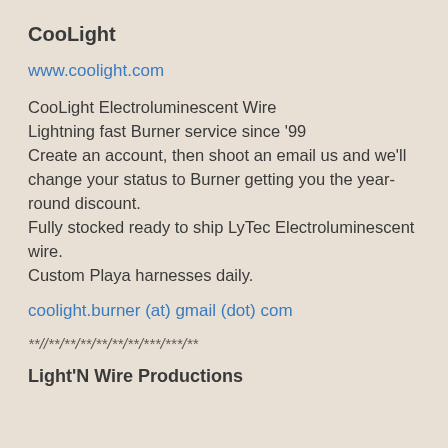CooLight
www.coolight.com
CooLight Electroluminescent Wire
Lightning fast Burner service since '99
Create an account, then shoot an email us and we'll change your status to Burner getting you the year-round discount.
Fully stocked ready to ship LyTec Electroluminescent wire.
Custom Playa harnesses daily.
coolight.burner (at) gmail (dot) com
**//**/**/**/**/**/**/***/***/**
Light'N Wire Productions